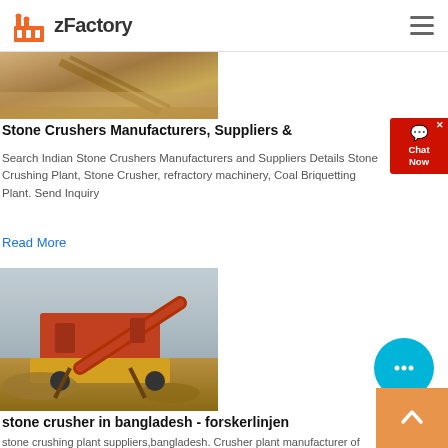zFactory
[Figure (photo): Aerial/close-up view of stone crushing machinery with sandy/dusty material]
Stone Crushers Manufacturers, Suppliers &
Search Indian Stone Crushers Manufacturers and Suppliers Details Stone Crushing Plant, Stone Crusher, refractory machinery, Coal Briquetting Plant. Send Inquiry
Read More
[Figure (photo): Red and yellow mobile stone crusher plant on a sandy construction site]
stone crusher in bangladesh - forskerlinjen
stone crushing plant suppliers,bangladesh. Crusher plant manufacturer of SBM Company is good at stone mining crushing plant. Our crushing plant manufacturers design .